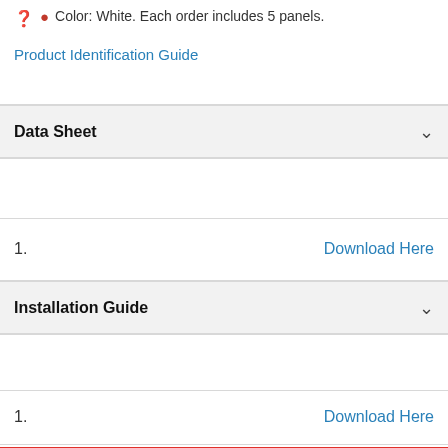Color: White. Each order includes 5 panels.
Product Identification Guide
Data Sheet
1.    Download Here
Installation Guide
1.    Download Here